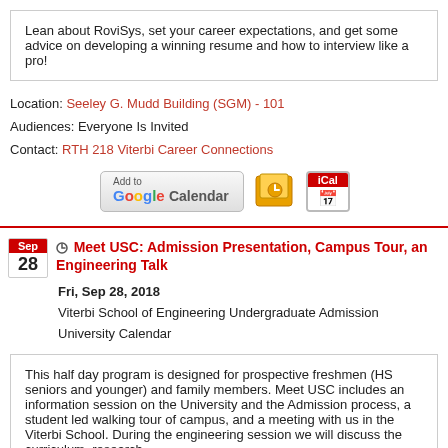Lean about RoviSys, set your career expectations, and get some advice on developing a winning resume and how to interview like a pro!
Location: Seeley G. Mudd Building (SGM) - 101
Audiences: Everyone Is Invited
Contact: RTH 218 Viterbi Career Connections
[Figure (other): Add to Google Calendar, Outlook calendar, and iCal buttons]
Meet USC: Admission Presentation, Campus Tour, and Engineering Talk
Fri, Sep 28, 2018
Viterbi School of Engineering Undergraduate Admission
University Calendar
This half day program is designed for prospective freshmen (HS seniors and younger) and family members. Meet USC includes an information session on the University and the Admission process, a student led walking tour of campus, and a meeting with us in the Viterbi School. During the engineering session we will discuss the curriculum, research